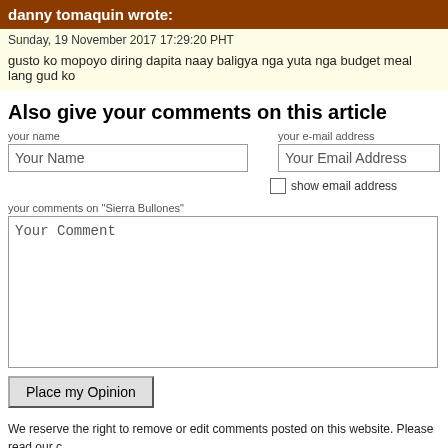danny tomaquin wrote:
Sunday, 19 November 2017 17:29:20 PHT
gusto ko mopoyo diring dapita naay baligya nga yuta nga budget meal lang gud ko
Also give your comments on this article
your name
Your Name
your e-mail address
Your Email Address
show email address
your comments on "Sierra Bullones"
Your Comment
Place my Opinion
We reserve the right to remove or edit comments posted on this website. Please read our <b>bold</b>, <p> new paragraph, <a href="url">link</a>. Other markup will be removed. located in Bohol can request to be added to the business directory.
home | co
© 2001-2017 Jeroen Hellingman, al